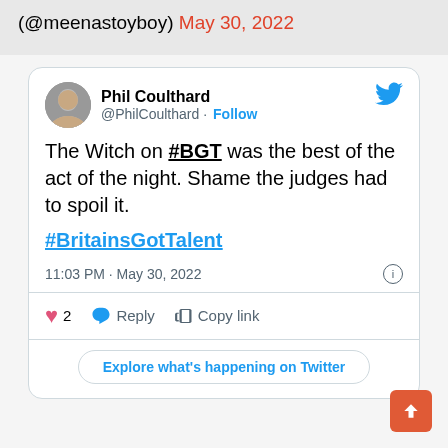(@meenastoyboy) May 30, 2022
[Figure (screenshot): Tweet by Phil Coulthard (@PhilCoulthard) with Follow button and Twitter bird logo. Tweet text: 'The Witch on #BGT was the best of the act of the night. Shame the judges had to spoil it. #BritainsGotTalent'. Posted 11:03 PM · May 30, 2022. 2 likes, Reply, Copy link actions. Explore what's happening on Twitter button.]